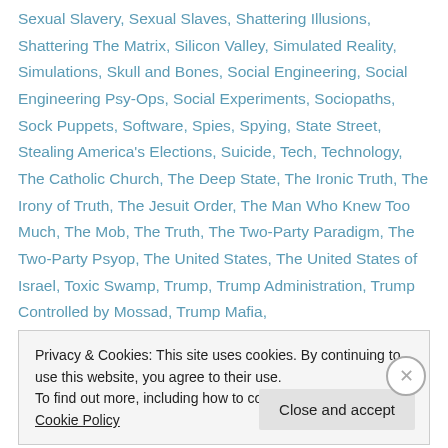Sexual Slavery, Sexual Slaves, Shattering Illusions, Shattering The Matrix, Silicon Valley, Simulated Reality, Simulations, Skull and Bones, Social Engineering, Social Engineering Psy-Ops, Social Experiments, Sociopaths, Sock Puppets, Software, Spies, Spying, State Street, Stealing America's Elections, Suicide, Tech, Technology, The Catholic Church, The Deep State, The Ironic Truth, The Irony of Truth, The Jesuit Order, The Man Who Knew Too Much, The Mob, The Truth, The Two-Party Paradigm, The Two-Party Psyop, The United States, The United States of Israel, Toxic Swamp, Trump, Trump Administration, Trump Controlled by Mossad, Trump Mafia,
Privacy & Cookies: This site uses cookies. By continuing to use this website, you agree to their use. To find out more, including how to control cookies, see here: Cookie Policy
Close and accept